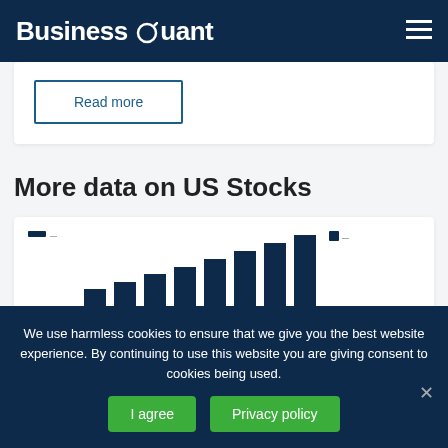Business Quant
Read more
More data on US Stocks
[Figure (bar-chart): Partially visible bar chart showing increasing bars, likely financial data for US Stocks]
We use harmless cookies to ensure that we give you the best website experience. By continuing to use this website you are giving consent to cookies being used.
I agree
Privacy policy